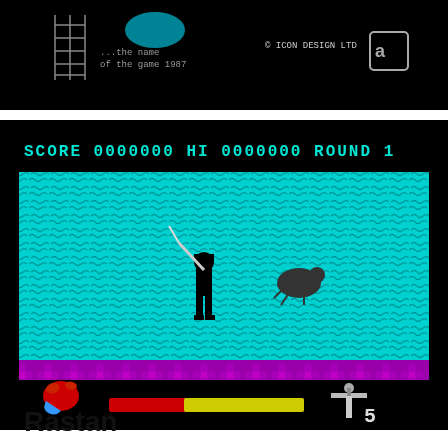[Figure (screenshot): Top portion of a ZX Spectrum game screen showing game logo/title screen with pixel art graphics, text reading '...the name of the game 1987' and '© ICON DESIGN LTD' with a logo icon, all on black background]
[Figure (screenshot): ZX Spectrum gameplay screenshot of Rastan. Shows game HUD at top reading 'SCORE 0000000 HI 0000000 ROUND 1' in cyan text on black. Main play area shows cyan/black pixelated background with a warrior character holding a sword fighting a creature. Purple/magenta flower pattern ground strip below. Bottom HUD shows red hand/fist icon, health/energy bar (red and yellow), sword icon, and number 5.]
Rastan